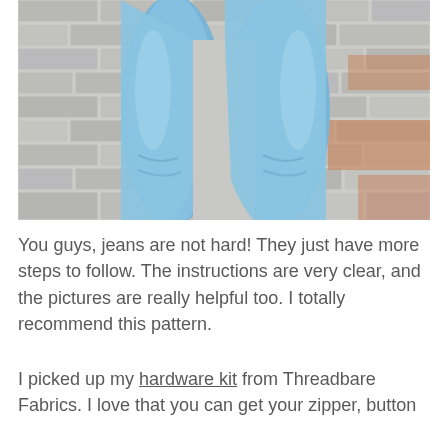[Figure (photo): Person wearing light blue skinny jeans standing in front of a grey and orange brick wall, cropped to show legs and lower torso only.]
You guys, jeans are not hard! They just have more steps to follow. The instructions are very clear, and the pictures are really helpful too. I totally recommend this pattern.
I picked up my hardware kit from Threadbare Fabrics. I love that you can get your zipper, button